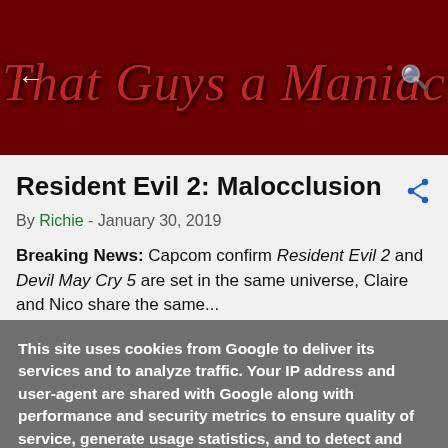That Guys a Maniac
Resident Evil 2: Malocclusion
By Richie - January 30, 2019
Breaking News: Capcom confirm Resident Evil 2 and Devil May Cry 5 are set in the same universe, Claire and Nico share the same...
This site uses cookies from Google to deliver its services and to analyze traffic. Your IP address and user-agent are shared with Google along with performance and security metrics to ensure quality of service, generate usage statistics, and to detect and address abuse.
LEARN MORE    OK